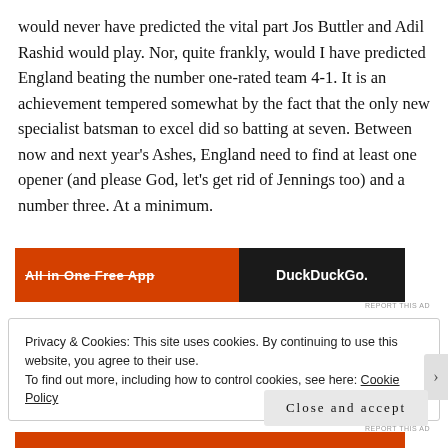would never have predicted the vital part Jos Buttler and Adil Rashid would play. Nor, quite frankly, would I have predicted England beating the number one-rated team 4-1. It is an achievement tempered somewhat by the fact that the only new specialist batsman to excel did so batting at seven. Between now and next year's Ashes, England need to find at least one opener (and please God, let's get rid of Jennings too) and a number three. At a minimum.
[Figure (other): Advertisement banner: All in One Free App text on orange background with DuckDuckGo branding on dark background]
Privacy & Cookies: This site uses cookies. By continuing to use this website, you agree to their use.
To find out more, including how to control cookies, see here: Cookie Policy